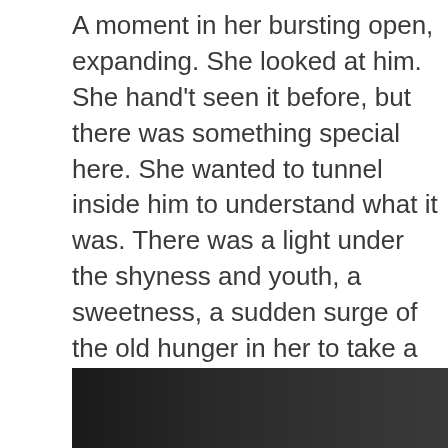A moment in her bursting open, expanding. She looked at him. She hand't seen it before, but there was something special here. She wanted to tunnel inside him to understand what it was. There was a light under the shyness and youth, a sweetness, a sudden surge of the old hunger in her to take a part of him into her and make him briefly hers.
Instead, she bent and helped, they all did. And deep into the morning, when it was done, they sat in silence, huddled against the cold wind and watched the tide swallow it whole.
Everything had changed somehow ” —
Lauren Groff
[Figure (photo): Dark photographic image, predominantly black and dark grey tones, partial view at the bottom of the page]